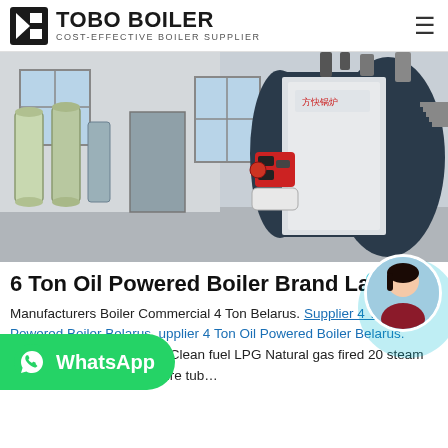TOBO BOILER – COST-EFFECTIVE BOILER SUPPLIER
[Figure (photo): Industrial boiler installation photo showing a large dark-blue and white horizontal fire-tube boiler with a red burner on the front, yellow gas pipework, water treatment cylinders on the left, and pump systems in a factory/warehouse setting.]
6 Ton Oil Powered Boiler Brand Latvia
Manufacturers Boiler Commercial 4 Ton Belarus. Supplier 4 Ton Oil Powered Boiler Belarus. Malaysia. Industrial 1 Brunei - Clean fuel LPG Natural gas fired 20 steam for palm Factory 150 psi Fire tub...